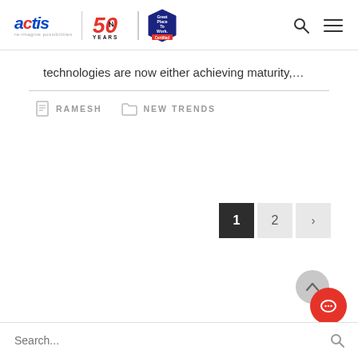actis | 50 YEARS | Great Place To Work Certified
technologies are now either achieving maturity,...
RAMESH   NEW TRENDS
1  2  >